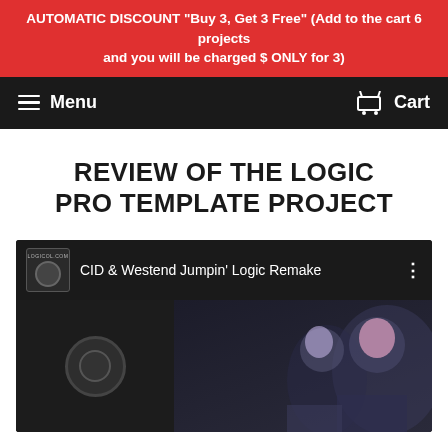AUTOMATIC DISCOUNT "Buy 3, Get 3 Free" (Add to the cart 6 projects and you will be charged $ ONLY for 3)
Menu   Cart
REVIEW OF THE LOGIC PRO TEMPLATE PROJECT
[Figure (screenshot): YouTube-style video thumbnail showing 'CID & Westend Jumpin' Logic Remake' with a channel icon on the left, video title text, and a three-dot menu icon. The video frame shows a dark background with illustrated figures on the right side.]